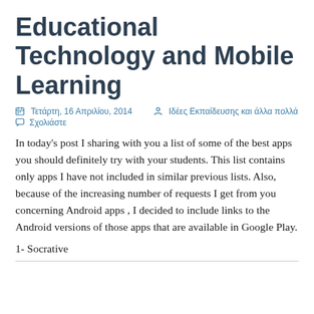Educational Technology and Mobile Learning
Τετάρτη, 16 Απριλίου, 2014   Ιδέες Εκπαίδευσης και άλλα πολλά
Σχολιάστε
In today's post I sharing with you a list of some of the best apps you should definitely try with your students. This list contains only apps I have not included in similar previous lists. Also, because of the increasing number of requests I get from you concerning Android apps , I decided to include links to the Android versions of those apps that are available in Google Play.
1- Socrative